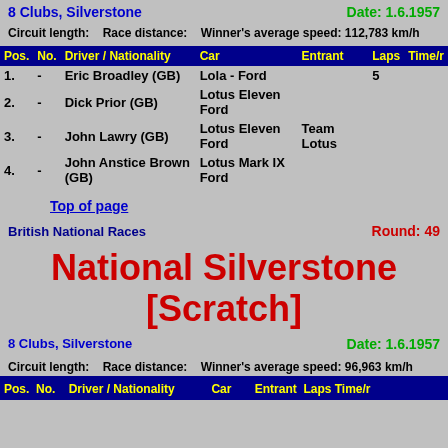8 Clubs, Silverstone    Date: 1.6.1957
Circuit length:    Race distance:    Winner's average speed: 112,783 km/h
| Pos. | No. | Driver / Nationality | Car | Entrant | Laps | Time/r |
| --- | --- | --- | --- | --- | --- | --- |
| 1. | - | Eric Broadley (GB) | Lola - Ford |  | 5 |  |
| 2. | - | Dick Prior (GB) | Lotus Eleven Ford |  |  |  |
| 3. | - | John Lawry (GB) | Lotus Eleven Ford | Team Lotus |  |  |
| 4. | - | John Anstice Brown (GB) | Lotus Mark IX Ford |  |  |  |
Top of page
British National Races    Round: 49
National Silverstone [Scratch]
8 Clubs, Silverstone    Date: 1.6.1957
Circuit length:    Race distance:    Winner's average speed: 96,963 km/h